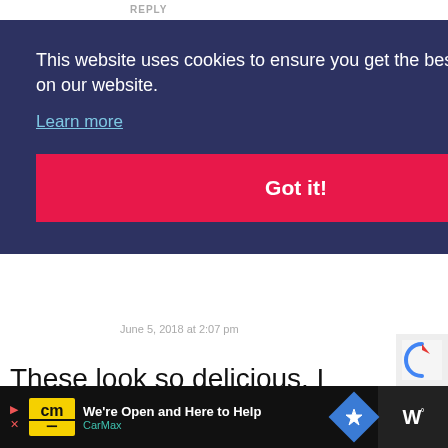REPLY
[Figure (screenshot): Cookie consent banner with dark blue background. Text: 'This website uses cookies to ensure you get the best experience on our website.' with a 'Learn more' link and a pink 'Got it!' button.]
June 5, 2018 at 2:07 pm
These look so delicious. I love a good chocolate chip cookie and putting them into bars make them better.
1.1K
WHAT'S NEXT → Chocolate Chip Oatme...
REPLY
[Figure (screenshot): Bottom advertisement bar with CarMax logo and 'We're Open and Here to Help' text in CarMax branding colors on black background.]